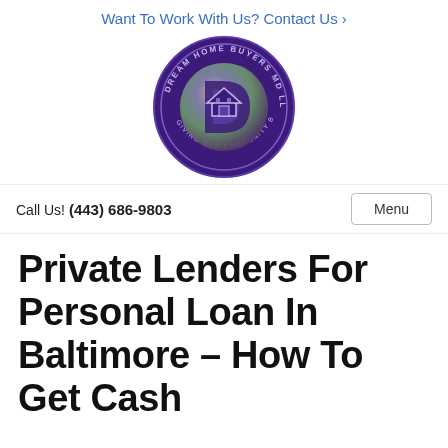Want To Work With Us? Contact Us ›
[Figure (logo): Dream Home Buyers MD LLC circular logo with purple background and stylized D house icon in center]
Call Us! (443) 686-9803
Private Lenders For Personal Loan In Baltimore – How To Get Cash